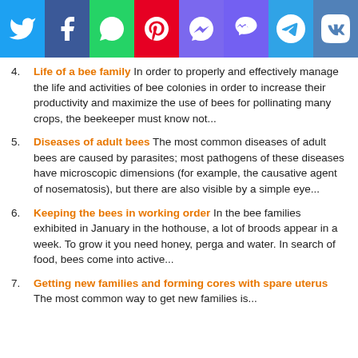[Figure (other): Social media icon bar with Twitter, Facebook, WhatsApp, Pinterest, Messenger, Viber, Telegram, VK icons]
4. Life of a bee family In order to properly and effectively manage the life and activities of bee colonies in order to increase their productivity and maximize the use of bees for pollinating many crops, the beekeeper must know not...
5. Diseases of adult bees The most common diseases of adult bees are caused by parasites; most pathogens of these diseases have microscopic dimensions (for example, the causative agent of nosematosis), but there are also visible by a simple eye...
6. Keeping the bees in working order In the bee families exhibited in January in the hothouse, a lot of broods appear in a week. To grow it you need honey, perga and water. In search of food, bees come into active...
7. Getting new families and forming cores with spare uterus The most common way to get new families is...